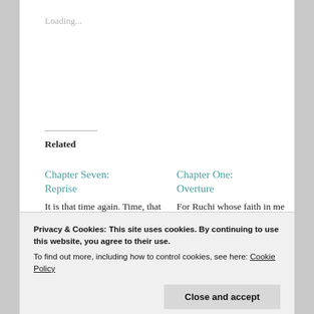Loading...
Related
Chapter Seven: Reprise
It is that time again. Time, that seems to bind everything, a tensile cord. Not unlike the umbilical
Chapter One: Overture
For Ruchi whose faith in me and my writing never waned, in whose font I dipped many many times when my
Privacy & Cookies: This site uses cookies. By continuing to use this website, you agree to their use.
To find out more, including how to control cookies, see here: Cookie Policy
Close and accept
hope – Latin proverb